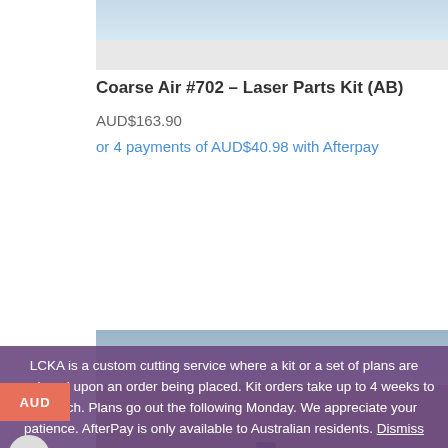[Figure (photo): Top portion of a product photo showing light blue sky background]
Coarse Air #702 – Laser Parts Kit (AB)
AUD$163.90
or 4 payments of AUD$40.98 with Afterpay
[Figure (photo): Outdoor photo showing a blue aircraft or model on desert scrubland terrain with sky in background]
LCKA is a custom cutting service where a kit or a set of plans are produced upon an order being placed. Kit orders take up to 4 weeks to dispatch. Plans go out the following Monday. We appreciate your patience. AfterPay is only available to Australian residents. Dismiss